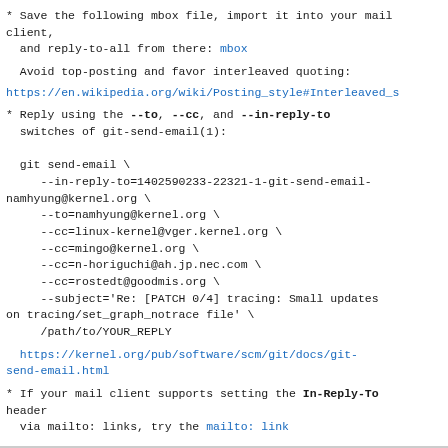* Save the following mbox file, import it into your mail client,
  and reply-to-all from there: mbox
Avoid top-posting and favor interleaved quoting:
https://en.wikipedia.org/wiki/Posting_style#Interleaved_s
* Reply using the --to, --cc, and --in-reply-to switches of git-send-email(1):

  git send-email \
    --in-reply-to=1402590233-22321-1-git-send-email-namhyung@kernel.org \
    --to=namhyung@kernel.org \
    --cc=linux-kernel@vger.kernel.org \
    --cc=mingo@kernel.org \
    --cc=n-horiguchi@ah.jp.nec.com \
    --cc=rostedt@goodmis.org \
    --subject='Re: [PATCH 0/4] tracing: Small updates on tracing/set_graph_notrace file' \
    /path/to/YOUR_REPLY
https://kernel.org/pub/software/scm/git/docs/git-send-email.html
* If your mail client supports setting the In-Reply-To header
  via mailto: links, try the mailto: link